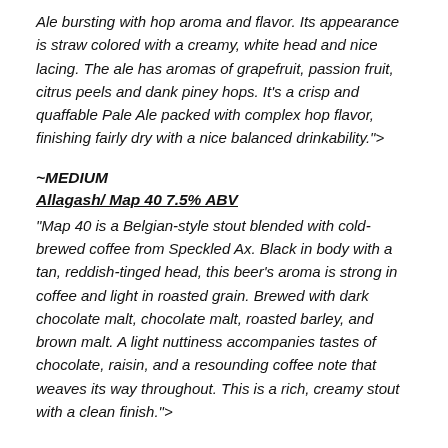Ale bursting with hop aroma and flavor. Its appearance is straw colored with a creamy, white head and nice lacing. The ale has aromas of grapefruit, passion fruit, citrus peels and dank piney hops. It's a crisp and quaffable Pale Ale packed with complex hop flavor, finishing fairly dry with a nice balanced drinkability.">
~MEDIUM
Allagash/ Map 40 7.5% ABV
"Map 40 is a Belgian-style stout blended with cold-brewed coffee from Speckled Ax. Black in body with a tan, reddish-tinged head, this beer's aroma is strong in coffee and light in roasted grain. Brewed with dark chocolate malt, chocolate malt, roasted barley, and brown malt. A light nuttiness accompanies tastes of chocolate, raisin, and a resounding coffee note that weaves its way throughout. This is a rich, creamy stout with a clean finish.">